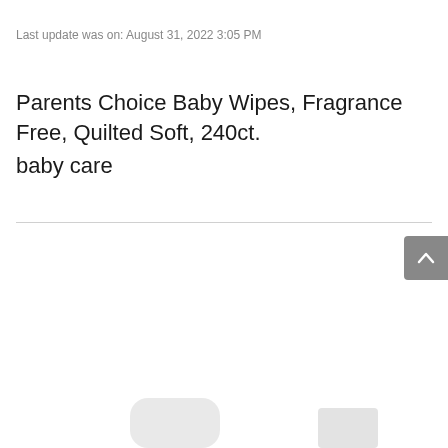Last update was on: August 31, 2022 3:05 PM
Parents Choice Baby Wipes, Fragrance Free, Quilted Soft, 240ct.
baby care
[Figure (other): Scroll-to-top button (chevron up icon) in grey rounded rectangle]
[Figure (other): Partially visible page bottom with two faint image thumbnails]